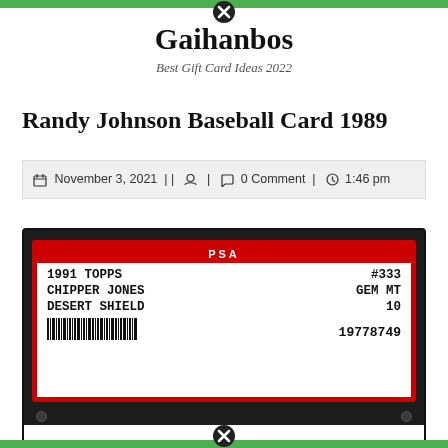Gaihanbos — Best Gift Card Ideas 2022
Randy Johnson Baseball Card 1989
November 3, 2021 || [user icon] | [comment icon] 0 Comment | [clock icon] 1:46 pm
[Figure (photo): PSA graded card slab showing: PSA label in red, 1991 TOPPS #333, CHIPPER JONES GEM MT, DESERT SHIELD 10, barcode, serial 19778749]